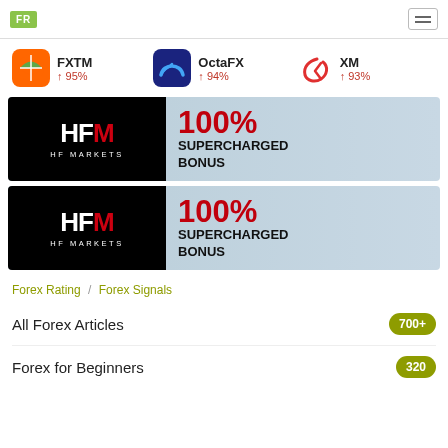FR [logo] / hamburger menu
FXTM +95% | OctaFX +94% | XM +93%
[Figure (infographic): HFM HF Markets 100% SUPERCHARGED BONUS banner advertisement]
[Figure (infographic): HFM HF Markets 100% SUPERCHARGED BONUS banner advertisement (duplicate)]
Forex Rating / Forex Signals
All Forex Articles  700+
Forex for Beginners  320